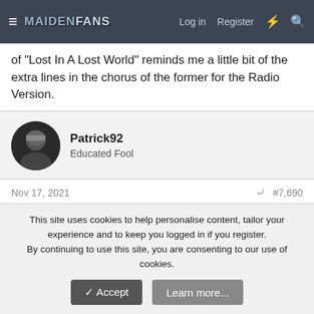MaidenFans — Log in | Register
of "Lost In A Lost World" reminds me a little bit of the extra lines in the chorus of the former for the Radio Version.
Patrick92
Educated Fool
Nov 17, 2021  #7,690
My top three would be Senjutsu, Writing on the Wall and Hell on Earth. Flawless songs. Runners up would be Parchment, Time Machine and Darkest Hour. Also flawless 😁
Kalata
This site uses cookies to help personalise content, tailor your experience and to keep you logged in if you register.
By continuing to use this site, you are consenting to our use of cookies.